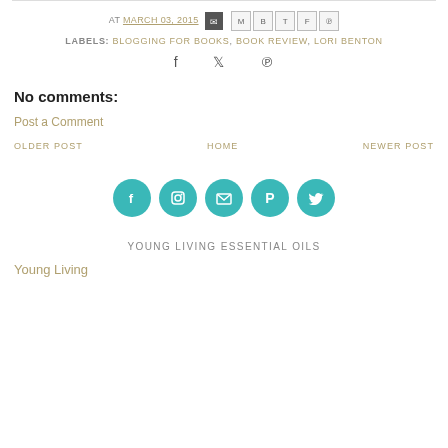AT MARCH 03, 2015 [share icons]
LABELS: BLOGGING FOR BOOKS, BOOK REVIEW, LORI BENTON
Social share icons: Facebook, Twitter, Pinterest
No comments:
Post a Comment
OLDER POST   HOME   NEWER POST
[Figure (infographic): Five teal circular social media icons: Facebook, Instagram, Email, Pinterest, Twitter]
YOUNG LIVING ESSENTIAL OILS
Young Living